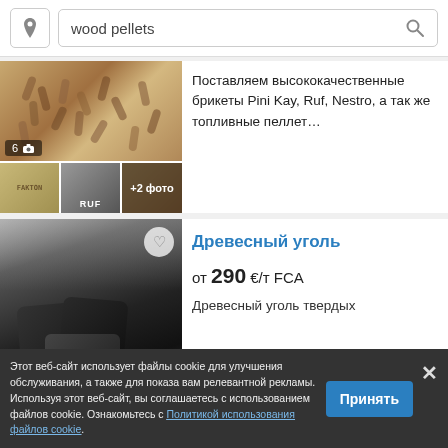[Figure (screenshot): Search bar with location pin icon and text 'wood pellets' with magnifier search icon]
[Figure (photo): Wood pellets product listing with 6 photos showing pellets and briquettes including Pini Kay, Ruf, Nestro brands. Thumbnail row shows 3 small images, one with +2 фото overlay.]
Поставляем высококачественные брикеты Pini Kay, Ruf, Nestro, а так же топливные пеллет…
[Figure (photo): Charcoal product listing with 7 photos showing dark charcoal pieces in packaging. Heart/favorite button visible. Badge shows '7 📷']
Древесный уголь
от 290 €/т FCA
Древесный уголь твердых
Этот веб-сайт использует файлы cookie для улучшения обслуживания, а также для показа вам релевантной рекламы. Используя этот веб-сайт, вы соглашаетесь с использованием файлов cookie. Ознакомьтесь с Политикой использования файлов cookie.
Принять